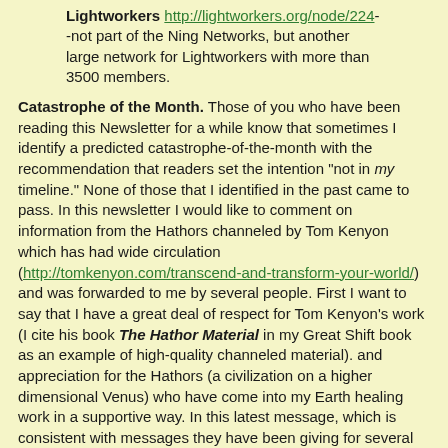Lightworkers http://lightworkers.org/node/224--not part of the Ning Networks, but another large network for Lightworkers with more than 3500 members.
Catastrophe of the Month. Those of you who have been reading this Newsletter for a while know that sometimes I identify a predicted catastrophe-of-the-month with the recommendation that readers set the intention "not in my timeline." None of those that I identified in the past came to pass. In this newsletter I would like to comment on information from the Hathors channeled by Tom Kenyon which has had wide circulation (http://tomkenyon.com/transcend-and-transform-your-world/) and was forwarded to me by several people. First I want to say that I have a great deal of respect for Tom Kenyon's work (I cite his book The Hathor Material in my Great Shift book as an example of high-quality channeled material). and appreciation for the Hathors (a civilization on a higher dimensional Venus) who have come into my Earth healing work in a supportive way. In this latest message, which is consistent with messages they have been giving for several years, they say:
We wish to speak with you about a perilous passage in which you now find yourselves. This shall extend throughout the rest of this year, as well as into and through 2008.